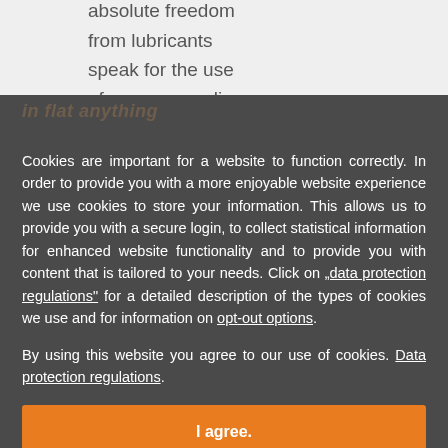absolute freedom from lubricants speak for the use of energy supplies
Cookies are important for a website to function correctly. In order to provide you with a more enjoyable website experience we use cookies to store your information. This allows us to provide you with a secure login, to collect statistical information for enhanced website functionality and to provide you with content that is tailored to your needs. Click on „data protection regulations“ for a detailed description of the types of cookies we use and for information on opt-out options.
By using this website you agree to our use of cookies. Data protection regulations.
I agree.
Tested in the te...